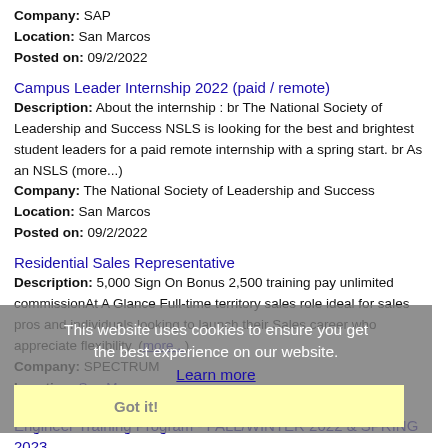Company: SAP
Location: San Marcos
Posted on: 09/2/2022
Campus Leader Internship 2022 (paid / remote)
Description: About the internship : br The National Society of Leadership and Success NSLS is looking for the best and brightest student leaders for a paid remote internship with a spring start. br As an NSLS (more...)
Company: The National Society of Leadership and Success
Location: San Marcos
Posted on: 09/2/2022
Residential Sales Representative
Description: 5,000 Sign On Bonus 2,500 training pay unlimited commissionAt A Glance Full-time territory sales role ideal for sales pros and individuals looking to launch their Sales career who appreciate flexibility. (more...)
Company: SPECTRUM
Location: San Marcos
Posted on: 09/2/2022
This website uses cookies to ensure you get the best experience on our website. Learn more
Got it!
Engineer Training Program - FALL/WINTER 2022 & SPRING 2023